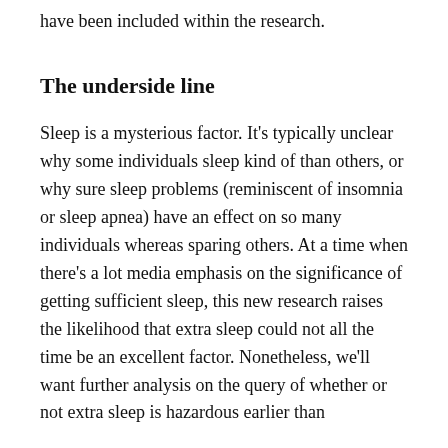have been included within the research.
The underside line
Sleep is a mysterious factor. It's typically unclear why some individuals sleep kind of than others, or why sure sleep problems (reminiscent of insomnia or sleep apnea) have an effect on so many individuals whereas sparing others. At a time when there's a lot media emphasis on the significance of getting sufficient sleep, this new research raises the likelihood that extra sleep could not all the time be an excellent factor. Nonetheless, we'll want further analysis on the query of whether or not extra sleep is hazardous earlier than